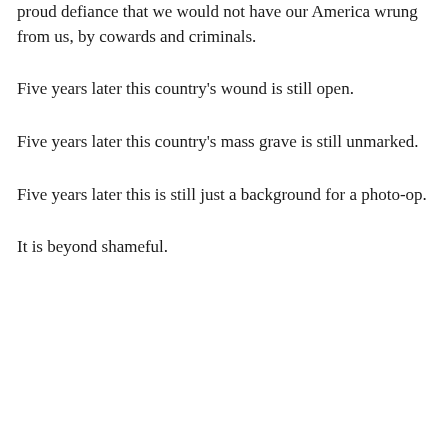proud defiance that we would not have our America wrung from us, by cowards and criminals.
Five years later this country's wound is still open.
Five years later this country's mass grave is still unmarked.
Five years later this is still just a background for a photo-op.
It is beyond shameful.